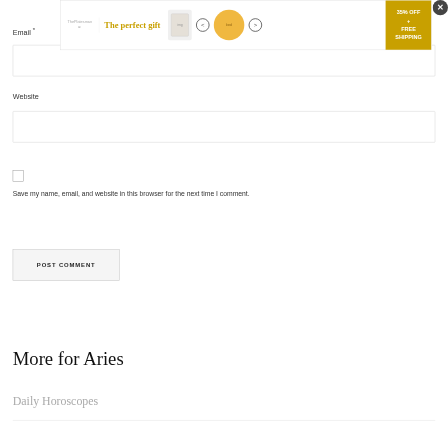[Figure (screenshot): Advertisement banner: 'The perfect gift' with product image, navigation arrows, bowl image, and '35% OFF + FREE SHIPPING' gold button, with X close button]
Email *
Website
Save my name, email, and website in this browser for the next time I comment.
POST COMMENT
More for Aries
Daily Horoscopes